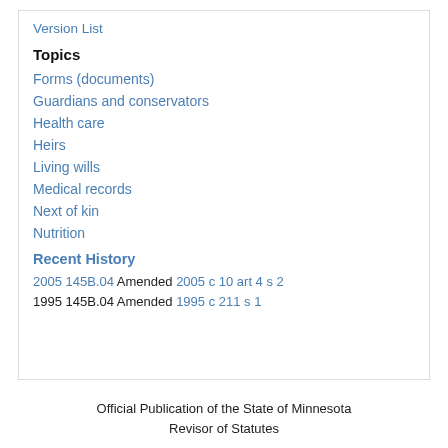Version List
Topics
Forms (documents)
Guardians and conservators
Health care
Heirs
Living wills
Medical records
Next of kin
Nutrition
Recent History
2005 145B.04 Amended 2005 c 10 art 4 s 2
1995 145B.04 Amended 1995 c 211 s 1
Official Publication of the State of Minnesota Revisor of Statutes